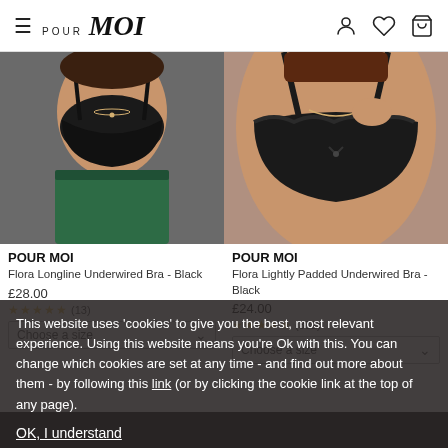Pour Moi — navigation header with hamburger menu, logo, and icons (user, wishlist, bag)
[Figure (photo): Woman wearing a black longline underwired bra with green trousers, seated]
[Figure (photo): Woman wearing a black lacy lightly padded underwired bra, close-up]
POUR MOI
POUR MOI
Flora Longline Underwired Bra - Black
Flora Lightly Padded Underwired Bra - Black
£28.00
£24.00
(13)
(382)
Choose a size
Choose a size
This website uses 'cookies' to give you the best, most relevant experience. Using this website means you're Ok with this. You can change which cookies are set at any time - and find out more about them - by following this link (or by clicking the cookie link at the top of any page).
OK, I understand